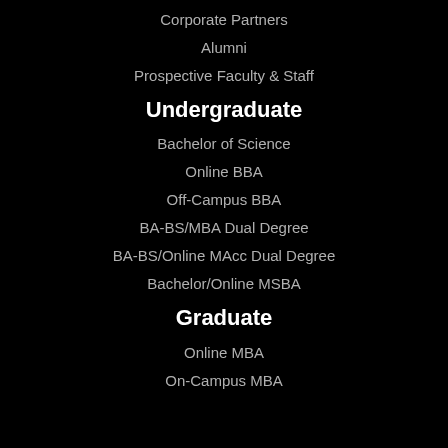Corporate Partners
Alumni
Prospective Faculty & Staff
Undergraduate
Bachelor of Science
Online BBA
Off-Campus BBA
BA-BS/MBA Dual Degree
BA-BS/Online MAcc Dual Degree
Bachelor/Online MSBA
Graduate
Online MBA
On-Campus MBA